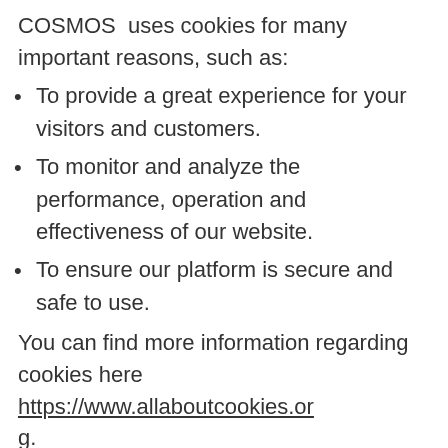COSMOS uses cookies for many important reasons, such as:
To provide a great experience for your visitors and customers.
To monitor and analyze the performance, operation and effectiveness of our website.
To ensure our platform is secure and safe to use.
You can find more information regarding cookies here https://www.allaboutcookies.org.
The following links explain how to access cookie settings in various browsers and how to delete cookies:
Cookie settings in Firefox
Cookie settings in Internet